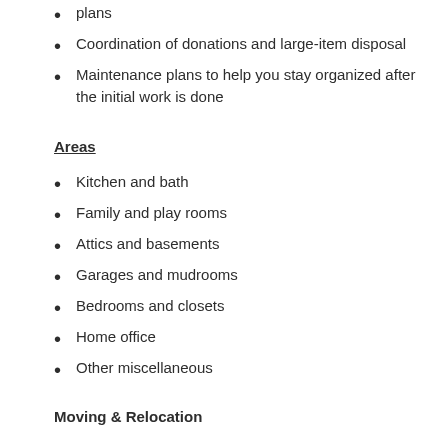plans
Coordination of donations and large-item disposal
Maintenance plans to help you stay organized after the initial work is done
Areas
Kitchen and bath
Family and play rooms
Attics and basements
Garages and mudrooms
Bedrooms and closets
Home office
Other miscellaneous
Moving & Relocation
Services